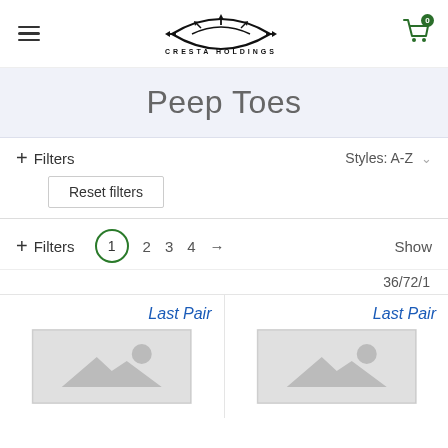[Figure (logo): Cresta Holdings logo - stylized eye/leaf shape with arrows, text CRESTA HOLDINGS below]
Peep Toes
+ Filters   Styles: A-Z
Reset filters
+ Filters  1  2  3  4  →  Show
36/72/1
Last Pair
[Figure (other): Product image placeholder - grey box with image icon]
Last Pair
[Figure (other): Product image placeholder - grey box with image icon]